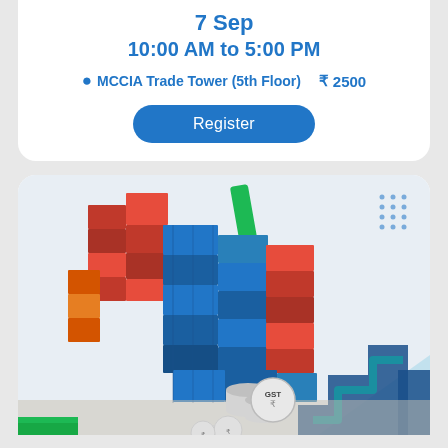7 Sep
10:00 AM to 5:00 PM
MCCIA Trade Tower (5th Floor)   ₹  2500
Register
[Figure (photo): Stacked shipping containers (red and blue) with GST coin illustration, decorative graphic elements including green stripe, teal step arrow, and light blue geometric shapes]